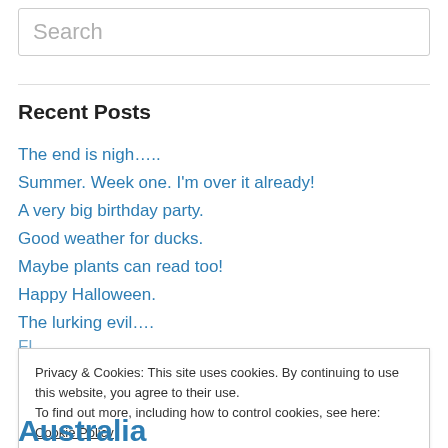Search
Recent Posts
The end is nigh…..
Summer. Week one. I'm over it already!
A very big birthday party.
Good weather for ducks.
Maybe plants can read too!
Happy Halloween.
The lurking evil….
Privacy & Cookies: This site uses cookies. By continuing to use this website, you agree to their use. To find out more, including how to control cookies, see here: Cookie Policy
Close and accept
Australia